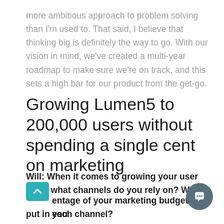more ambitious approach to problem solving than I'm used to. That said, I believe that thinking big is definitely the way to go. With our vision in mind, we've created a multi-year roadmap to make sure we're on track, and this sets a high bar for our product from the get-go.
Growing Lumen5 to 200,000 users without spending a single cent on marketing
Will: When it comes to growing your user base, what channels do you rely on? What percentage of your marketing budget do you put in each channel?